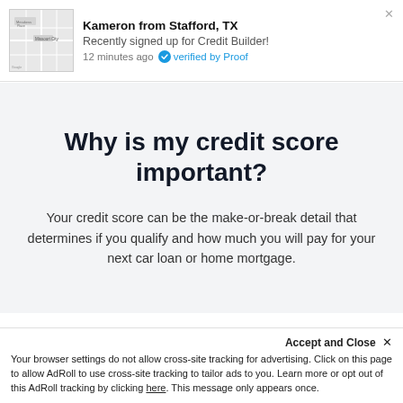Kameron from Stafford, TX
Recently signed up for Credit Builder!
12 minutes ago ✓ verified by Proof
Why is my credit score important?
Your credit score can be the make-or-break detail that determines if you qualify and how much you will pay for your next car loan or home mortgage.
Accept and Close ×
Your browser settings do not allow cross-site tracking for advertising. Click on this page to allow AdRoll to use cross-site tracking to tailor ads to you. Learn more or opt out of this AdRoll tracking by clicking here. This message only appears once.